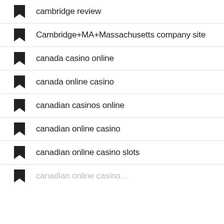cambridge review
Cambridge+MA+Massachusetts company site
canada casino online
canada online casino
canadian casinos online
canadian online casino
canadian online casino slots
canadian online casino...